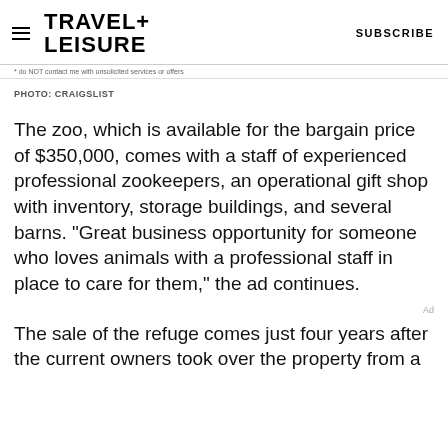TRAVEL+ LEISURE   SUBSCRIBE
* do NOT contact me with unsolicited services or offers
PHOTO: CRAIGSLIST
The zoo, which is available for the bargain price of $350,000, comes with a staff of experienced professional zookeepers, an operational gift shop with inventory, storage buildings, and several barns. “Great business opportunity for someone who loves animals with a professional staff in place to care for them,” the ad continues.
The sale of the refuge comes just four years after the current owners took over the property from a